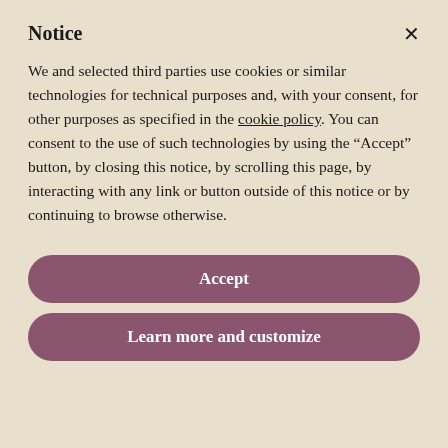Notice
We and selected third parties use cookies or similar technologies for technical purposes and, with your consent, for other purposes as specified in the cookie policy. You can consent to the use of such technologies by using the “Accept” button, by closing this notice, by scrolling this page, by interacting with any link or button outside of this notice or by continuing to browse otherwise.
Accept
Learn more and customize
Boyi lane!
Boyi lane!
Nitole Chikumba chambewa
Niko...